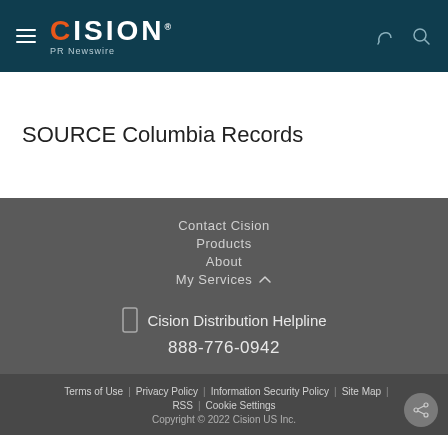CISION PR Newswire
SOURCE Columbia Records
Contact Cision
Products
About
My Services
Cision Distribution Helpline
888-776-0942
Terms of Use | Privacy Policy | Information Security Policy | Site Map | RSS | Cookie Settings
Copyright © 2022 Cision US Inc.